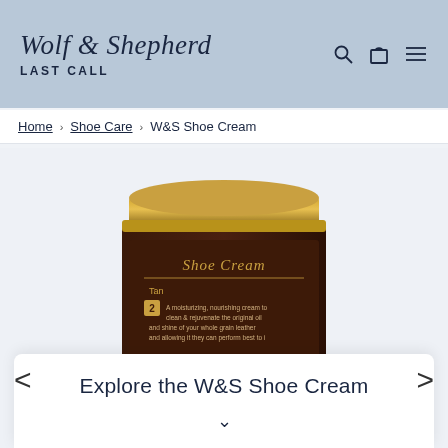Wolf & Shepherd LAST CALL
Home > Shoe Care > W&S Shoe Cream
[Figure (photo): A dark brown jar of W&S Shoe Cream with a gold lid, labeled 'Shoe Cream' with product description text on the label.]
Explore the W&S Shoe Cream